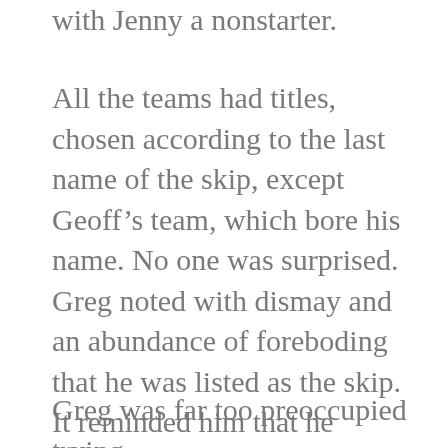with Jenny a nonstarter.
All the teams had titles, chosen according to the last name of the skip, except Geoff’s team, which bore his name. No one was surprised. Greg noted with dismay and an abundance of foreboding that he was listed as the skip. It reminded him that he needed to do something about that.
Greg was far too preoccupied trying